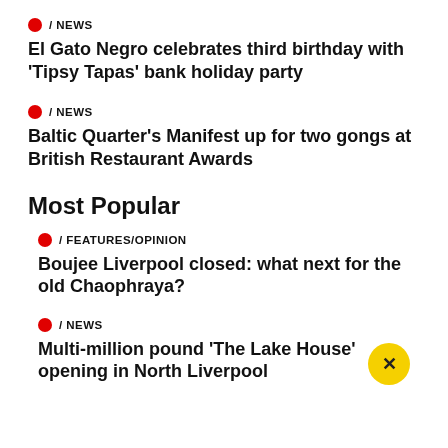/ NEWS — El Gato Negro celebrates third birthday with 'Tipsy Tapas' bank holiday party
/ NEWS — Baltic Quarter's Manifest up for two gongs at British Restaurant Awards
Most Popular
/ FEATURES/OPINION — Boujee Liverpool closed: what next for the old Chaophraya?
/ NEWS — Multi-million pound 'The Lake House' opening in North Liverpool